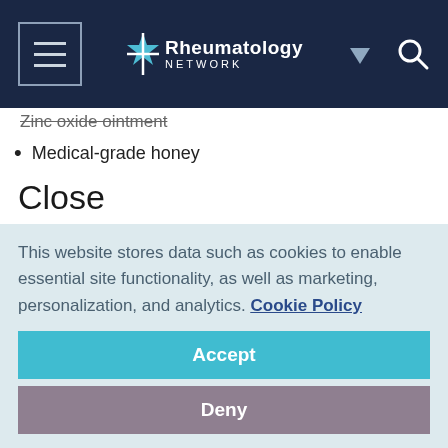Rheumatology Network
Zinc oxide ointment
Medical-grade honey
Close
“As was illustrated in our patient, tophaceous ulcers are not only difficult to treat, but are also extremely debilitating. Our patient has chronic pain requiring opiate medications, decreased functionality of his limb and diminished sensation in this area,” the authors wrote. The authors suggest that in
This website stores data such as cookies to enable essential site functionality, as well as marketing, personalization, and analytics. Cookie Policy
Accept
Deny